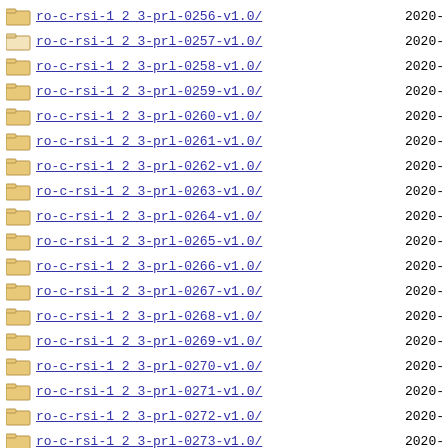ro-c-rsi-1 2 3-prl-0256-v1.0/  2020-
ro-c-rsi-1 2 3-prl-0257-v1.0/  2020-
ro-c-rsi-1 2 3-prl-0258-v1.0/  2020-
ro-c-rsi-1 2 3-prl-0259-v1.0/  2020-
ro-c-rsi-1 2 3-prl-0260-v1.0/  2020-
ro-c-rsi-1 2 3-prl-0261-v1.0/  2020-
ro-c-rsi-1 2 3-prl-0262-v1.0/  2020-
ro-c-rsi-1 2 3-prl-0263-v1.0/  2020-
ro-c-rsi-1 2 3-prl-0264-v1.0/  2020-
ro-c-rsi-1 2 3-prl-0265-v1.0/  2020-
ro-c-rsi-1 2 3-prl-0266-v1.0/  2020-
ro-c-rsi-1 2 3-prl-0267-v1.0/  2020-
ro-c-rsi-1 2 3-prl-0268-v1.0/  2020-
ro-c-rsi-1 2 3-prl-0269-v1.0/  2020-
ro-c-rsi-1 2 3-prl-0270-v1.0/  2020-
ro-c-rsi-1 2 3-prl-0271-v1.0/  2020-
ro-c-rsi-1 2 3-prl-0272-v1.0/  2020-
ro-c-rsi-1 2 3-prl-0273-v1.0/  2020-